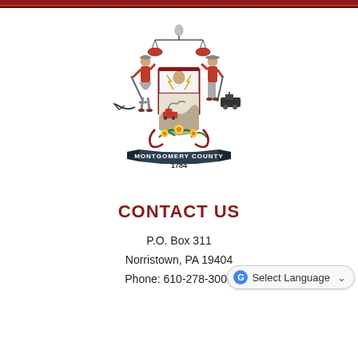[Figure (logo): Montgomery County Pennsylvania official seal/coat of arms featuring two figures flanking a shield, scales of justice above, daffodils below, and a banner reading MONTGOMERY COUNTY 1784]
CONTACT US
P.O. Box 311
Norristown, PA 19404
Phone: 610-278-3000